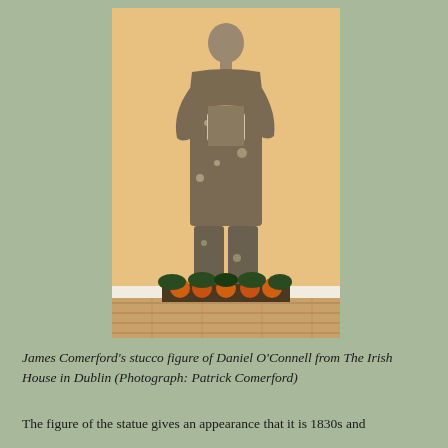[Figure (photo): A weathered stucco figure of Daniel O'Connell, standing upright in a long coat, holding a scroll, mounted on a decorative base with orange and dark foliage elements. The statue is photographed against a pale yellow/orange wall with a white baseboard. The floor is wooden.]
James Comerford's stucco figure of Daniel O'Connell from The Irish House in Dublin (Photograph: Patrick Comerford)
The figure of the statue gives an appearance that it is 1830s and...